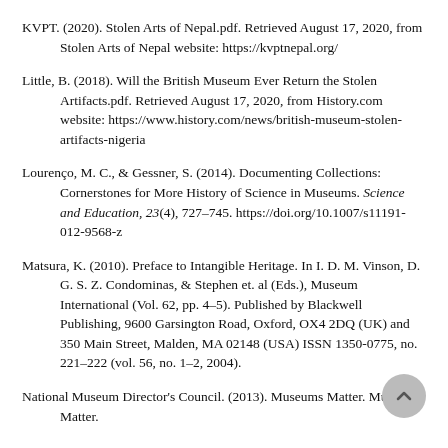KVPT. (2020). Stolen Arts of Nepal.pdf. Retrieved August 17, 2020, from Stolen Arts of Nepal website: https://kvptnepal.org/
Little, B. (2018). Will the British Museum Ever Return the Stolen Artifacts.pdf. Retrieved August 17, 2020, from History.com website: https://www.history.com/news/british-museum-stolen-artifacts-nigeria
Lourenço, M. C., & Gessner, S. (2014). Documenting Collections: Cornerstones for More History of Science in Museums. Science and Education, 23(4), 727–745. https://doi.org/10.1007/s11191-012-9568-z
Matsura, K. (2010). Preface to Intangible Heritage. In I. D. M. Vinson, D. G. S. Z. Condominas, & Stephen et. al (Eds.), Museum International (Vol. 62, pp. 4–5). Published by Blackwell Publishing, 9600 Garsington Road, Oxford, OX4 2DQ (UK) and 350 Main Street, Malden, MA 02148 (USA) ISSN 1350-0775, no. 221–222 (vol. 56, no. 1–2, 2004).
National Museum Director's Council. (2013). Museums Matter. Museums Matter.